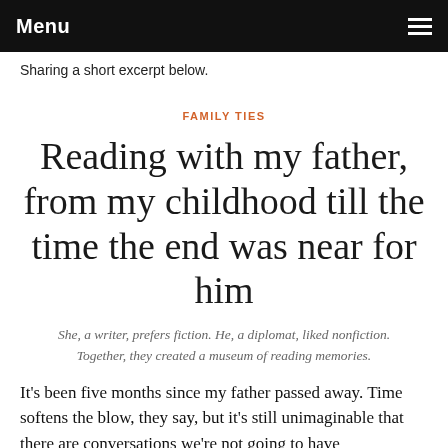Menu
Sharing a short excerpt below.
FAMILY TIES
Reading with my father, from my childhood till the time the end was near for him
She, a writer, prefers fiction. He, a diplomat, liked nonfiction. Together, they created a museum of reading memories.
It’s been five months since my father passed away. Time softens the blow, they say, but it’s still unimaginable that there are conversations we’re not going to have